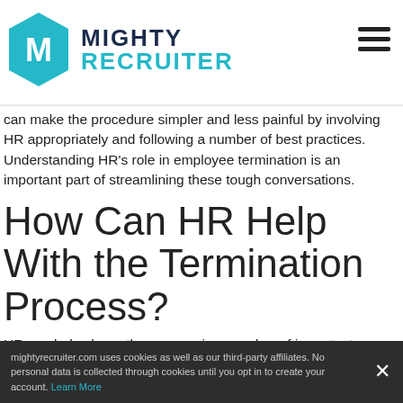[Figure (logo): MightyRecruiter logo with teal hexagon icon and bold text 'MIGHTY RECRUITER']
can make the procedure simpler and less painful by involving HR appropriately and following a number of best practices. Understanding HR's role in employee termination is an important part of streamlining these tough conversations.
How Can HR Help With the Termination Process?
HR can help shape the process in a number of important ways: – Helping managers talk frankly with their employees about
mightyrecruiter.com uses cookies as well as our third-party affiliates. No personal data is collected through cookies until you opt in to create your account. Learn More